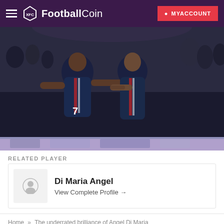FootballCoin — MYACCOUNT
[Figure (photo): Two PSG football players (Mbappe wearing #7 and Angel Di Maria) in dark navy PSG jerseys embracing/celebrating on the pitch in front of a crowd.]
RELATED PLAYER
Di Maria Angel
View Complete Profile →
Home » The underrated brilliance of Angel Di Maria